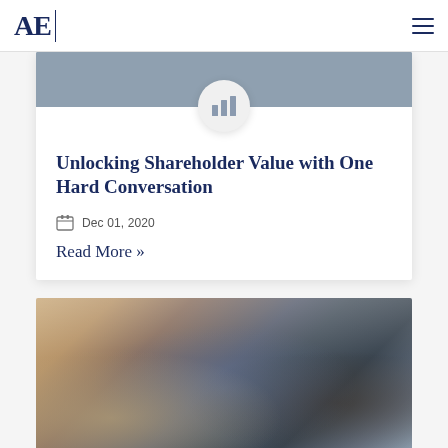AE
[Figure (photo): Office photo background strip at top of article card with bar chart icon overlay]
Unlocking Shareholder Value with One Hard Conversation
Dec 01, 2020
Read More »
[Figure (photo): Business meeting room photo showing four people around a conference table, a woman in a blue denim shirt standing and leaning forward speaking to colleagues]